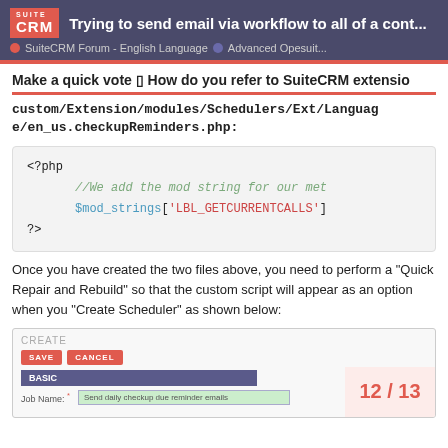Trying to send email via workflow to all of a cont... | SuiteCRM Forum - English Language | Advanced Opesuit...
Make a quick vote ▣ How do you refer to SuiteCRM extensio
custom/Extension/modules/Schedulers/Ext/Language/en_us.checkupReminders.php:
[Figure (screenshot): PHP code block showing: <?php //We add the mod string for our met $mod_strings['LBL_GETCURRENTCALLS'] ?>]
Once you have created the two files above, you need to perform a "Quick Repair and Rebuild" so that the custom script will appear as an option when you "Create Scheduler" as shown below:
[Figure (screenshot): Screenshot of SuiteCRM Create Scheduler UI showing CREATE section with SAVE and CANCEL buttons, BASIC section with Job Name field filled with 'Send daily checkup due reminder emails'. Page number 12/13 overlay in bottom right.]